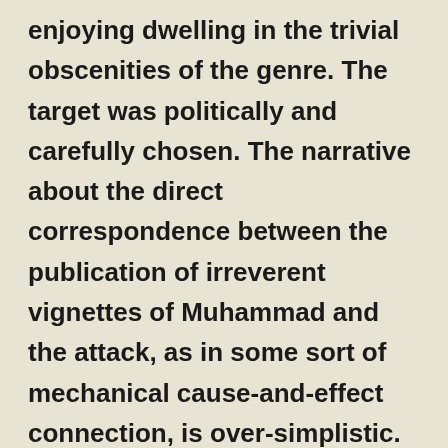enjoying dwelling in the trivial obscenities of the genre. The target was politically and carefully chosen. The narrative about the direct correspondence between the publication of irreverent vignettes of Muhammad and the attack, as in some sort of mechanical cause-and-effect connection, is over-simplistic. Nor is the narrative about attacks on freedom of speech and of press sufficient to understand what is really happening. The strategy behind the attack aims at a polarization of French society, at an escalation of the conflict, and above all at the resuscitation of the mantra of “the clash of civilizations.” It further isolates the Muslim population in France (around five million people)